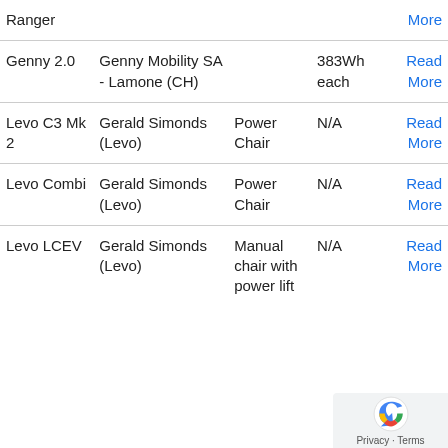| Name | Manufacturer | Type | Battery | Link |
| --- | --- | --- | --- | --- |
| Ranger |  |  |  | More |
| Genny 2.0 | Genny Mobility SA - Lamone (CH) |  | 383Wh each | Read More |
| Levo C3 Mk 2 | Gerald Simonds (Levo) | Power Chair | N/A | Read More |
| Levo Combi | Gerald Simonds (Levo) | Power Chair | N/A | Read More |
| Levo LCEV | Gerald Simonds (Levo) | Manual chair with power lift | N/A | Read More |